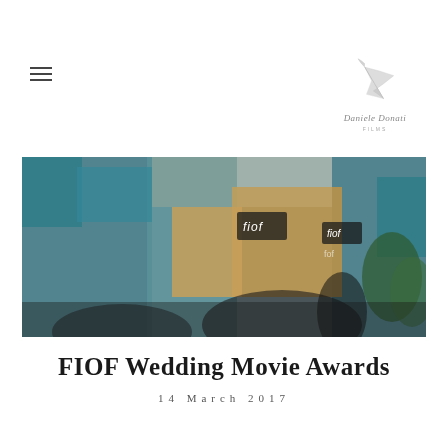[Figure (logo): Daniele Donati Films logo with feather illustration and italic script text]
[Figure (photo): Event venue photo showing FIOF branded signage with teal/blue and brown/tan box displays, blurred foreground figures, outdoor setting]
FIOF Wedding Movie Awards
14 March 2017